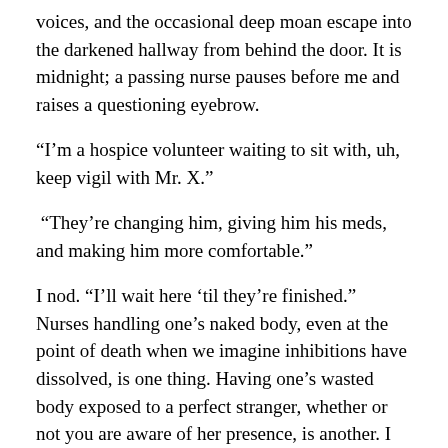voices, and the occasional deep moan escape into the darkened hallway from behind the door. It is midnight; a passing nurse pauses before me and raises a questioning eyebrow.
“I’m a hospice volunteer waiting to sit with, uh, keep vigil with Mr. X.”
“They’re changing him, giving him his meds, and making him more comfortable.”
I nod. “I’ll wait here ‘til they’re finished.” Nurses handling one’s naked body, even at the point of death when we imagine inhibitions have dissolved, is one thing. Having one’s wasted body exposed to a perfect stranger, whether or not you are aware of her presence, is another. I assume modesty does not dissolve at the end of life and do not intrude until Mr. X is dry, clean,